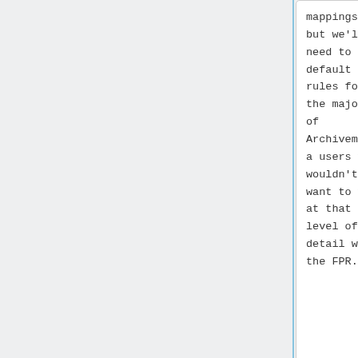mappings, but we'll need to have default rules for the majority of Archivematica users who wouldn't want to work at that level of detail with the FPR.
mappings, but we'll need to have default rules for the majority of Archivematica users who wouldn't want to work at that level of detail with the FPR.
**We could choose to capture the tool outputs in log files, but
**We could choose to capture the tool outputs in log files, but